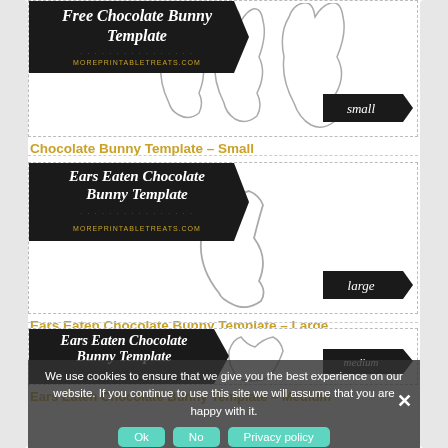[Figure (illustration): Chocolate Bunny Template printable image with black banner reading 'Free Chocolate Bunny Template' and moreprintabletreats.com, showing small bunny outlines and 'small' size tag ribbon]
Chocolate Bunny Template – Small
[Figure (illustration): Ears Eaten Chocolate Bunny Template printable image with black banner, showing large ears-eaten bunny outline and 'large' size tag ribbon]
Ears Eaten Chocolate Bunny Template – Large
[Figure (illustration): Ears Eaten Chocolate Bunny Template printable image with black banner, showing medium bunny outline and 'medium' size tag ribbon]
Ears Eaten Chocolate Bunny Template – Medium
We use cookies to ensure that we give you the best experience on our website. If you continue to use this site we will assume that you are happy with it.